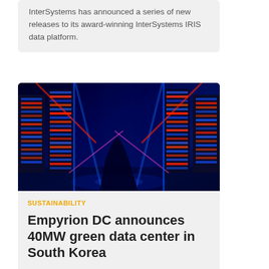InterSystems has announced a series of new releases to its award-winning InterSystems IRIS data platform.
[Figure (photo): Data center server racks with colorful neon blue, red, and pink lighting in a dark corridor]
SUSTAINABILITY
Empyrion DC announces 40MW green data center in South Korea
Empyrion DC has announced it is developing a 40MW green data center in Gangnam, Seoul, South Korea